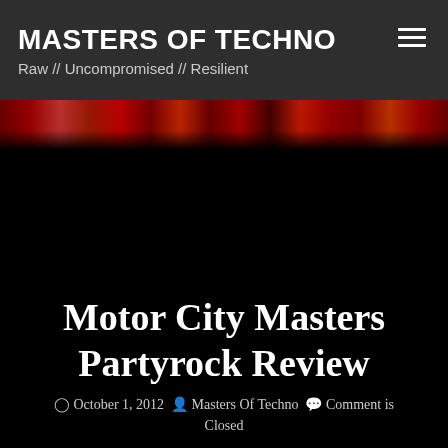MASTERS OF TECHNO
Raw // Uncompromised // Resilient
[Figure (photo): Partial view of a colorful event photo with red and other colors visible at the top, fading into black below]
Motor City Masters Partyrock Review
October 1, 2012  Masters Of Techno  Comment is Closed